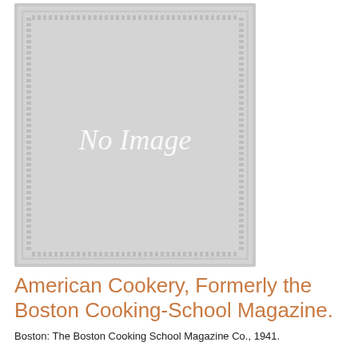[Figure (illustration): A placeholder 'No Image' graphic showing a light gray decorative bordered rectangle with the italic text 'No Image' in white in the center.]
American Cookery, Formerly the Boston Cooking-School Magazine.
Boston: The Boston Cooking School Magazine Co., 1941.